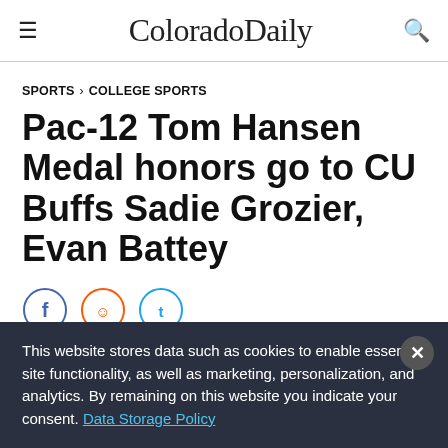ColoradoDaily
SPORTS > COLLEGE SPORTS
Pac-12 Tom Hansen Medal honors go to CU Buffs Sadie Grozier, Evan Battey
This website stores data such as cookies to enable essential site functionality, as well as marketing, personalization, and analytics. By remaining on this website you indicate your consent. Data Storage Policy